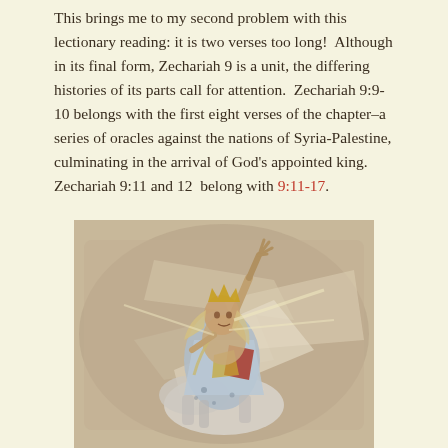This brings me to my second problem with this lectionary reading: it is two verses too long!  Although in its final form, Zechariah 9 is a unit, the differing histories of its parts call for attention.  Zechariah 9:9-10 belongs with the first eight verses of the chapter–a series of oracles against the nations of Syria-Palestine, culminating in the arrival of God's appointed king.   Zechariah 9:11 and 12  belong with 9:11-17.
[Figure (illustration): Artistic illustration of a crowned figure on horseback, raising one arm, wearing colorful robes, painted in a loose expressive style with warm earth tones and dynamic brushwork.]